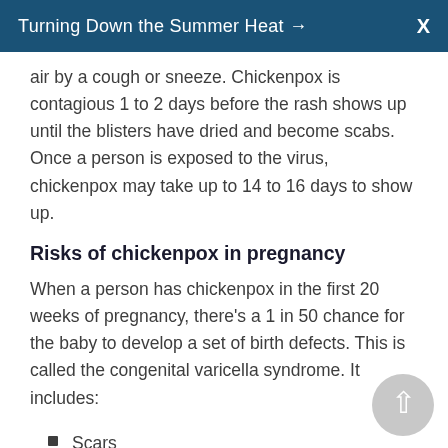Turning Down the Summer Heat →  X
air by a cough or sneeze. Chickenpox is contagious 1 to 2 days before the rash shows up until the blisters have dried and become scabs. Once a person is exposed to the virus, chickenpox may take up to 14 to 16 days to show up.
Risks of chickenpox in pregnancy
When a person has chickenpox in the first 20 weeks of pregnancy, there's a 1 in 50 chance for the baby to develop a set of birth defects. This is called the congenital varicella syndrome. It includes:
Scars
Defects of muscle and bone